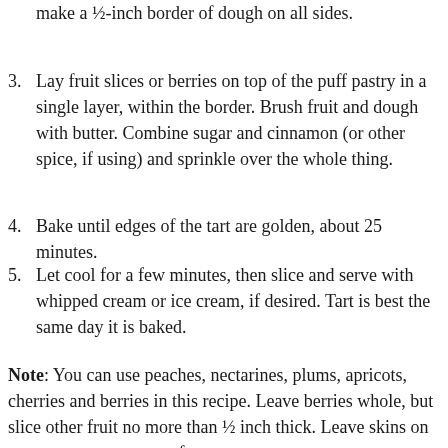make a ½-inch border of dough on all sides.
3. Lay fruit slices or berries on top of the puff pastry in a single layer, within the border. Brush fruit and dough with butter. Combine sugar and cinnamon (or other spice, if using) and sprinkle over the whole thing.
4. Bake until edges of the tart are golden, about 25 minutes.
5. Let cool for a few minutes, then slice and serve with whipped cream or ice cream, if desired. Tart is best the same day it is baked.
Note: You can use peaches, nectarines, plums, apricots, cherries and berries in this recipe. Leave berries whole, but slice other fruit no more than ½ inch thick. Leave skins on or remove, per your preference.